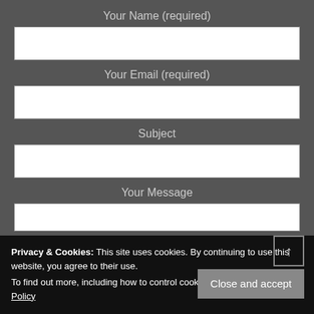Your Name (required)
Your Email (required)
Subject
Your Message
Privacy & Cookies: This site uses cookies. By continuing to use this website, you agree to their use.
To find out more, including how to control cookies, see here: Cookie Policy
Close and accept